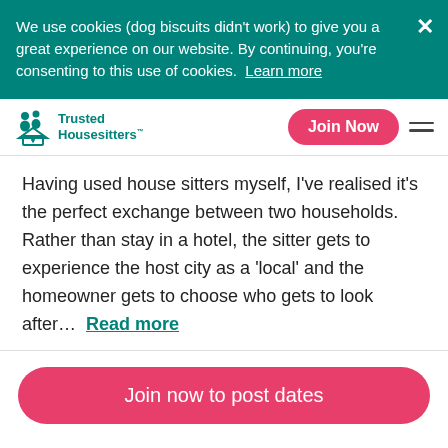We use cookies (dog biscuits didn't work) to give you a great experience on our website. By continuing, you're consenting to this use of cookies.  Learn more
[Figure (logo): Trusted Housesitters logo with icon of two people and a house with a heart]
Join Now
Having used house sitters myself, I've realised it's the perfect exchange between two households. Rather than stay in a hotel, the sitter gets to experience the host city as a 'local' and the homeowner gets to choose who gets to look after...  Read more
Join now to post dates